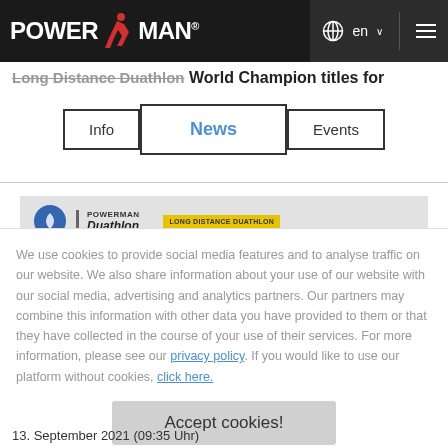[Figure (logo): POWERMAN logo with red running figure icon in header bar]
Long Distance Duathlon World Champion titles for
[Figure (screenshot): Navigation tabs: Info, News (active/selected in blue), Events]
[Figure (screenshot): Card strip showing Powerman Duathlon logo and badge]
We use cookies to provide social media features and to analyse traffic on our website. We also share information about your use of our website with our social media, advertising and analytics partners. Our partners may combine this information with other data you have provided to them or that they have collected in the course of your use of their services. For more information, please see our privacy policy. If you would like to use our platform without cookies, click here.
Accept cookies!
13. September 2021 (09:35 Uhr)